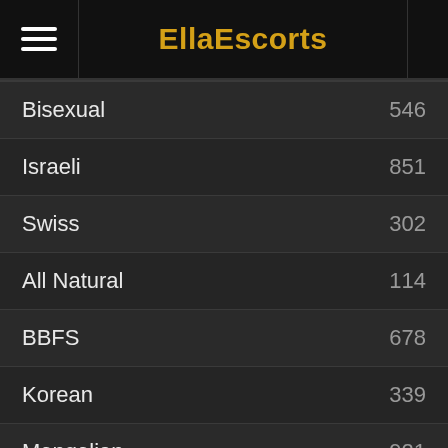EllaEscorts
Bisexual 546
Israeli 851
Swiss 302
All Natural 114
BBFS 678
Korean 339
Mongolian 921
Philippines 101